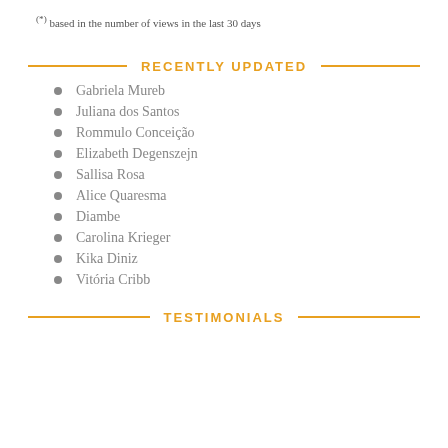(*) based in the number of views in the last 30 days
RECENTLY UPDATED
Gabriela Mureb
Juliana dos Santos
Rommulo Conceição
Elizabeth Degenszejn
Sallisa Rosa
Alice Quaresma
Diambe
Carolina Krieger
Kika Diniz
Vitória Cribb
TESTIMONIALS